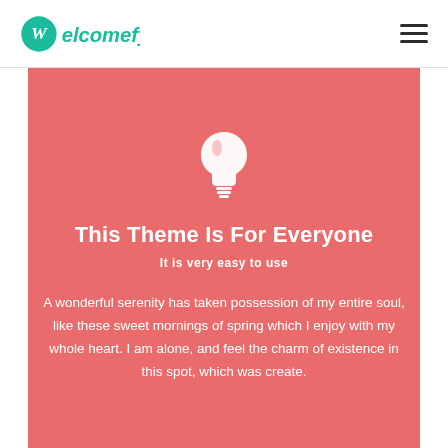Welcomefy
[Figure (illustration): Light bulb icon in white on salmon/coral background]
This Theme Is For Everyone
It is very easy to use
A wonderful serenity has taken possession of my entire soul, like these sweet mornings of spring which I enjoy with my whole heart. I am alone, and feel the charm of existence in this spot, which was create.